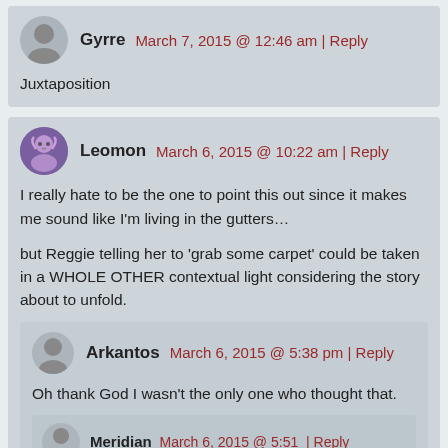Gyrre   March 7, 2015 @ 12:46 am | Reply
Juxtaposition
Leomon   March 6, 2015 @ 10:22 am | Reply
I really hate to be the one to point this out since it makes me sound like I'm living in the gutters…
but Reggie telling her to 'grab some carpet' could be taken in a WHOLE OTHER contextual light considering the story about to unfold.
Arkantos   March 6, 2015 @ 5:38 pm | Reply
Oh thank God I wasn't the only one who thought that.
Meridian   March 6, 2015 @ 5:51   | Reply